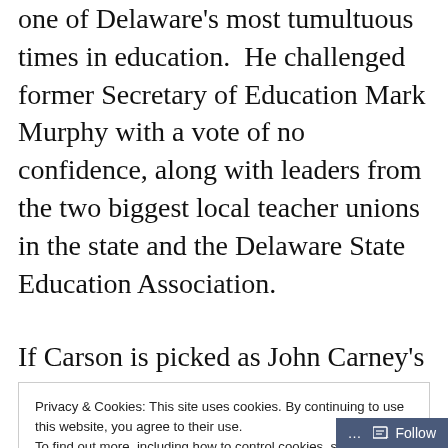one of Delaware's most tumultuous times in education.  He challenged former Secretary of Education Mark Murphy with a vote of no confidence, along with leaders from the two biggest local teacher unions in the state and the Delaware State Education Association.
If Carson is picked as John Carney's
Privacy & Cookies: This site uses cookies. By continuing to use this website, you agree to their use.
To find out more, including how to control cookies, see here: Cookie Policy
Close and accept
Follow ···